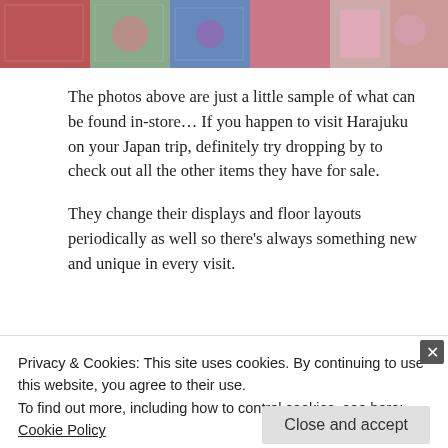[Figure (photo): A strip of product/toy photos showing various colorful items in packaging, including pink and red items, visible at the top of the page.]
The photos above are just a little sample of what can be found in-store… If you happen to visit Harajuku on your Japan trip, definitely try dropping by to check out all the other items they have for sale.
They change their displays and floor layouts periodically as well so there's always something new and unique in every visit.
Share this:
Privacy & Cookies: This site uses cookies. By continuing to use this website, you agree to their use.
To find out more, including how to control cookies, see here:
Cookie Policy